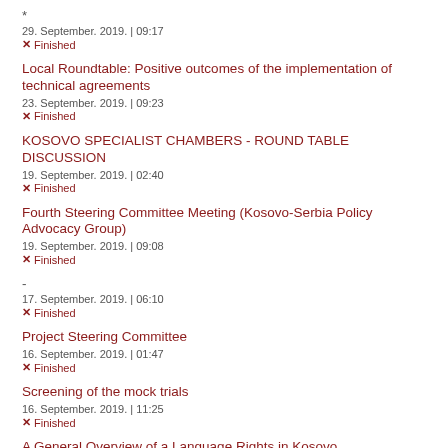*
29. September. 2019. | 09:17
× Finished
Local Roundtable: Positive outcomes of the implementation of technical agreements
23. September. 2019. | 09:23
× Finished
KOSOVO SPECIALIST CHAMBERS - ROUND TABLE DISCUSSION
19. September. 2019. | 02:40
× Finished
Fourth Steering Committee Meeting (Kosovo-Serbia Policy Advocacy Group)
19. September. 2019. | 09:08
× Finished
-
17. September. 2019. | 06:10
× Finished
Project Steering Committee
16. September. 2019. | 01:47
× Finished
Screening of the mock trials
16. September. 2019. | 11:25
× Finished
A General Overview of a Language Rights in Kosovo